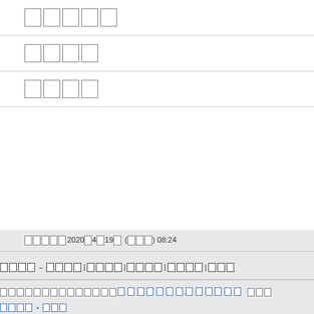□□□□□
□□□□
□□□□
□□□□□2020□4□19□ (□□□) 08:24
□□□□ – □□□□|□□□□|□□□□|□□□□|□□□
□□□□□□□□□□□□□□□□□□□□□□-□□□□□□   □□□
□□□□ • □□□